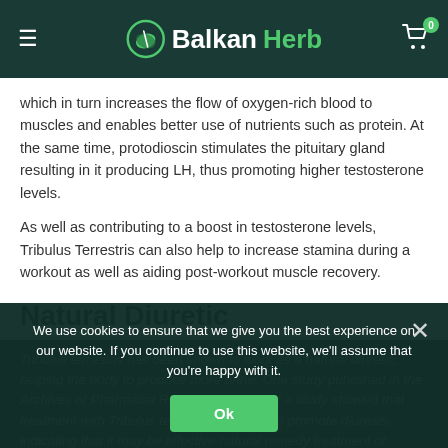BalkanHerb (logo with hamburger menu and cart icon showing 0 items)
which in turn increases the flow of oxygen-rich blood to muscles and enables better use of nutrients such as protein. At the same time, protodioscin stimulates the pituitary gland resulting in it producing LH, thus promoting higher testosterone levels.
As well as contributing to a boost in testosterone levels, Tribulus Terrestris can also help to increase stamina during a workout as well as aiding post-workout muscle recovery.
Natural Diuretic
Tribulus terrestris has been shown to work as a natural diuretic, helping the body to produce more urine. One study published in the Archives of Pharmacal Research found that a study showed that treatment with Tribulus terrestris was able to promote diuresis, indicating that it may be effective natural remedy treatment of kidney stones.
We use cookies to ensure that we give you the best experience on our website. If you continue to use this website, we'll assume that you're happy with it.